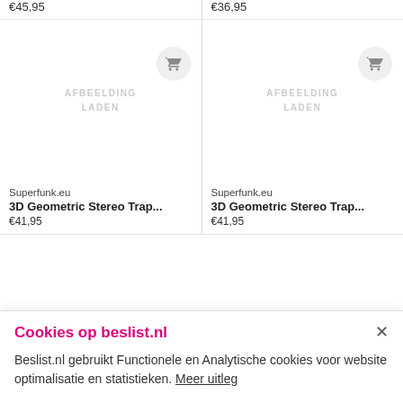€45,95
€36,95
[Figure (other): Product image placeholder with cart button — left card. Text: AFBEELDING LADEN]
[Figure (other): Product image placeholder with cart button — right card. Text: AFBEELDING LADEN]
Superfunk.eu
3D Geometric Stereo Trap...
€41,95
Superfunk.eu
3D Geometric Stereo Trap...
€41,95
Cookies op beslist.nl
Beslist.nl gebruikt Functionele en Analytische cookies voor website optimalisatie en statistieken. Meer uitleg